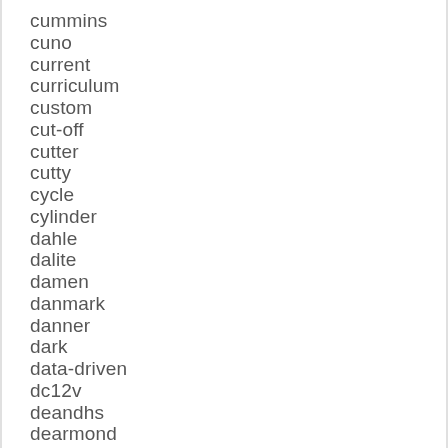cummins
cuno
current
curriculum
custom
cut-off
cutter
cutty
cycle
cylinder
dahle
dalite
damen
danmark
danner
dark
data-driven
dc12v
deandhs
dearmond